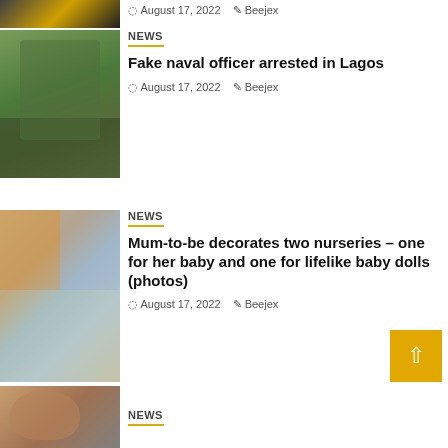[Figure (photo): Partial top image cropped at page top, dark image with yellow element]
August 17, 2022   Beejex
[Figure (photo): Person wearing military camouflage uniform]
NEWS
Fake naval officer arrested in Lagos
August 17, 2022   Beejex
[Figure (photo): Collage of babies and toddlers]
NEWS
Mum-to-be decorates two nurseries – one for her baby and one for lifelike baby dolls (photos)
August 17, 2022   Beejex
[Figure (photo): Close-up of man's face at bottom of page]
NEWS